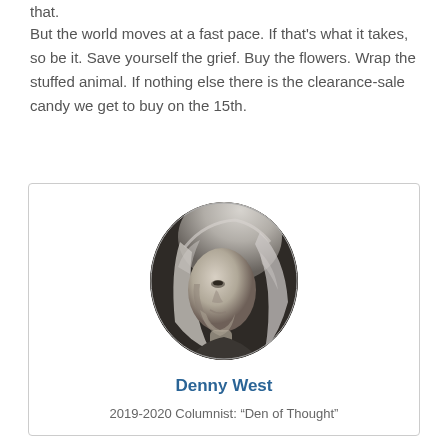that.
But the world moves at a fast pace.  If that's what it takes, so be it.  Save yourself the grief.  Buy the flowers.  Wrap the stuffed animal.  If nothing else there is the clearance-sale candy we get to buy on the 15th.
[Figure (photo): Black and white oval portrait photo of Denny West, a person with long wavy light hair, looking upward, shown in profile/three-quarter view]
Denny West
2019-2020 Columnist: “Den of Thought”